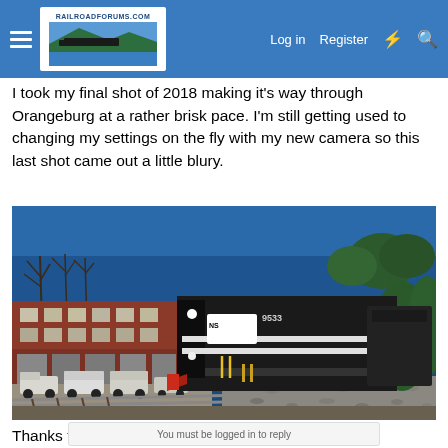RailroadForums.com — Log in | Register
I took my final shot of 2018 making it's way through Orangeburg at a rather brisk pace. I'm still getting used to changing my settings on the fly with my new camera so this last shot came out a little blury.
[Figure (photo): A Norfolk Southern locomotive (number 9533) pulling a train through downtown Orangeburg. Red brick commercial buildings visible on the left side, clear blue sky above, gravel rail bed on right, and several vehicles parked near the tracks.]
Thanks for looking!